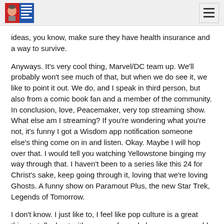[Logo and hamburger menu]
ideas, you know, make sure they have health insurance and a way to survive.
Anyways. It's very cool thing, Marvel/DC team up. We'll probably won't see much of that, but when we do see it, we like to point it out. We do, and I speak in third person, but also from a comic book fan and a member of the community. In conclusion, love, Peacemaker, very top streaming show. What else am I streaming? If you're wondering what you're not, it's funny I got a Wisdom app notification someone else's thing come on in and listen. Okay. Maybe I will hop over that. I would tell you watching Yellowstone binging my way through that. I haven't been to a series like this 24 for Christ's sake, keep going through it, loving that we're loving Ghosts. A funny show on Paramout Plus, the new Star Trek, Legends of Tomorrow.
I don't know. I just like to, I feel like pop culture is a great thing to talk about with groups of people because you could have